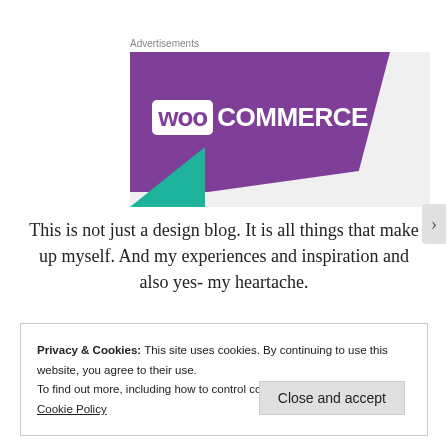Advertisements
[Figure (logo): WooCommerce advertisement banner with purple background and teal accent triangle]
This is not just a design blog. It is all things that make up myself. And my experiences and inspiration and also yes- my heartache.
Privacy & Cookies: This site uses cookies. By continuing to use this website, you agree to their use.
To find out more, including how to control cookies, see here:
Cookie Policy
Close and accept